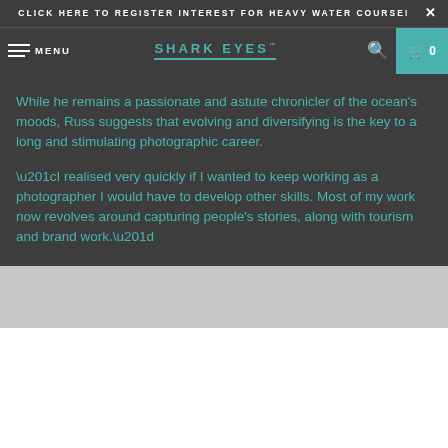CLICK HERE TO REGISTER INTEREST FOR HEAVY WATER COURSE!
SHARK EYES™
While he remains a passionate and astute chronicler of the ocean's moods, Russ suggests that evolving and diversifying is the key to a long and stimulating photographic career.
“I realised very quickly if I wanted to keep working as a photographer I would have to develop other skills. Most of my work now revolves around capturing people's stories, along with tourism and brand work.”